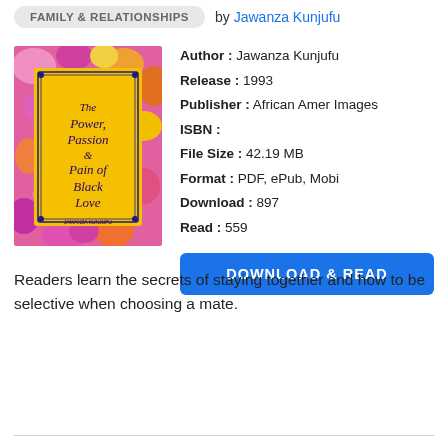FAMILY & RELATIONSHIPS  by Jawanza Kunjufu
[Figure (photo): Book cover of 'The Power, Passion & Pain of Black Love' by Jawanza Kunjufu. Yellow center with decorative blue border, colorful floral background.]
Author : Jawanza Kunjufu
Release : 1993
Publisher : African Amer Images
ISBN :
File Size : 42.19 MB
Format : PDF, ePub, Mobi
Download : 897
Read : 559
DOWNLOAD & READ
Readers learn the secrets of staying together and how to be selective when choosing a mate.